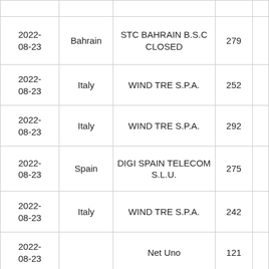| Date | Country | Operator | Value |  |
| --- | --- | --- | --- | --- |
| 2022-08-23 | Bahrain | STC BAHRAIN B.S.C CLOSED | 279 |  |
| 2022-08-23 | Italy | WIND TRE S.P.A. | 252 |  |
| 2022-08-23 | Italy | WIND TRE S.P.A. | 292 |  |
| 2022-08-23 | Spain | DIGI SPAIN TELECOM S.L.U. | 275 |  |
| 2022-08-23 | Italy | WIND TRE S.P.A. | 242 |  |
| 2022-08-23 |  | Net Uno | 121 |  |
| 2022-... |  |  |  |  |